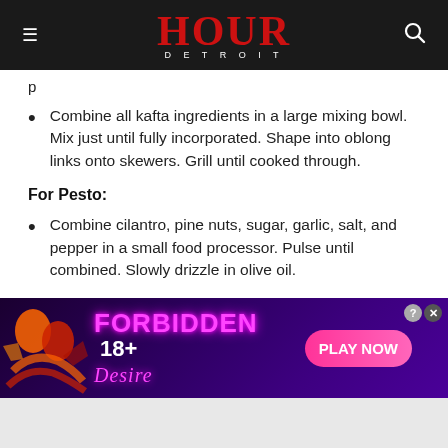HOUR DETROIT
Combine all kafta ingredients in a large mixing bowl. Mix just until fully incorporated. Shape into oblong links onto skewers. Grill until cooked through.
For Pesto:
Combine cilantro, pine nuts, sugar, garlic, salt, and pepper in a small food processor. Pulse until combined. Slowly drizzle in olive oil.
[Figure (other): Advertisement banner for 'Forbidden Desire 18+' game with pink neon text on dark purple background, silhouettes on left, and a pink 'PLAY NOW' button on the right.]